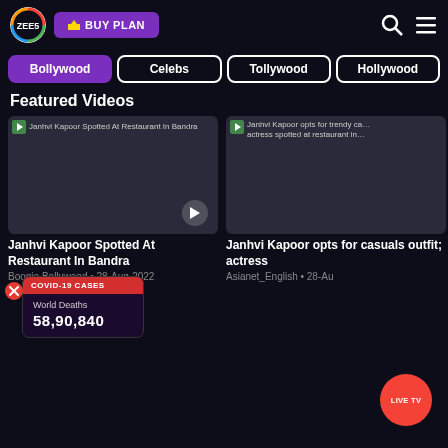[Figure (screenshot): ZEE5 streaming platform header with logo and BUY PLAN button]
Bollywood
Celebs
Tollywood
Hollywood
Featured Videos
[Figure (screenshot): Video thumbnail: Janhvi Kapoor Spotted At Restaurant In Bandra]
Janhvi Kapoor Spotted At Restaurant In Bandra
Boogie Bollywood • 28-Aug-2022
[Figure (screenshot): Video thumbnail: Janhvi Kapoor opts for trendy casuals outfit; actress spotted at restaurant in]
Janhvi Kapoor opts for casuals outfit; actress
Asianet_English • 28-Au
[Figure (infographic): COVID-19 CASES popup showing World Deaths: 58,90,840]
COVID-19 CASES
World Deaths
58,90,840
LIVE TV